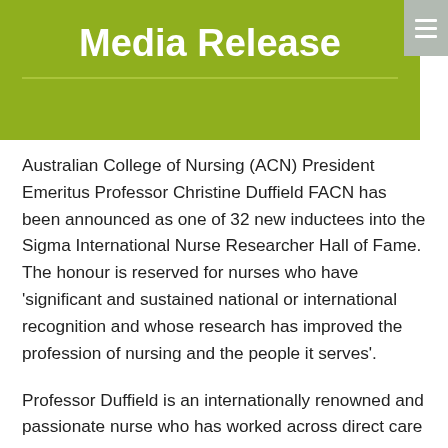Media Release
Australian College of Nursing (ACN) President Emeritus Professor Christine Duffield FACN has been announced as one of 32 new inductees into the Sigma International Nurse Researcher Hall of Fame. The honour is reserved for nurses who have ‘significant and sustained national or international recognition and whose research has improved the profession of nursing and the people it serves’.
Professor Duffield is an internationally renowned and passionate nurse who has worked across direct care